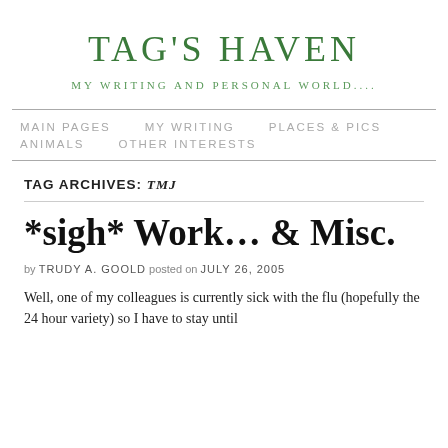TAG'S HAVEN
MY WRITING AND PERSONAL WORLD....
MAIN PAGES   MY WRITING   PLACES & PICS   ANIMALS   OTHER INTERESTS
TAG ARCHIVES: TMJ
*sigh* Work… & Misc.
by TRUDY A. GOOLD posted on JULY 26, 2005
Well, one of my colleagues is currently sick with the flu (hopefully the 24 hour variety) so I have to stay until